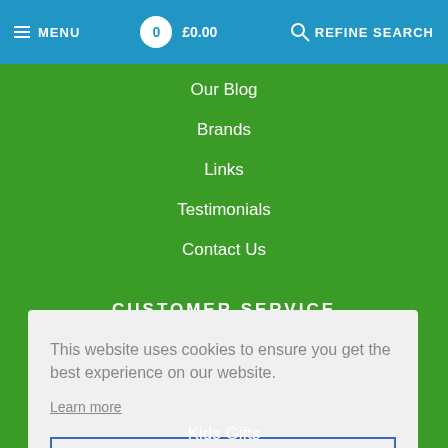≡ MENU   0 £0.00   🔍 REFINE SEARCH
Our Blog
Brands
Links
Testimonials
Contact Us
CUSTOMER SERVICE
My Account
This website uses cookies to ensure you get the best experience on our website.
Learn more
Got it!
Kids Gifts